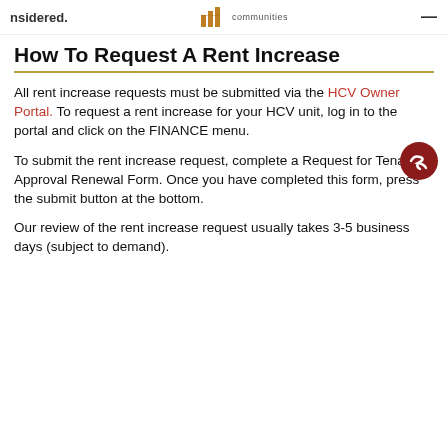nsidered. communities
How To Request A Rent Increase
All rent increase requests must be submitted via the HCV Owner Portal. To request a rent increase for your HCV unit, log in to the portal and click on the FINANCE menu.
To submit the rent increase request, complete a Request for Tenancy Approval Renewal Form. Once you have completed this form, press the submit button at the bottom.
Our review of the rent increase request usually takes 3-5 business days (subject to demand).